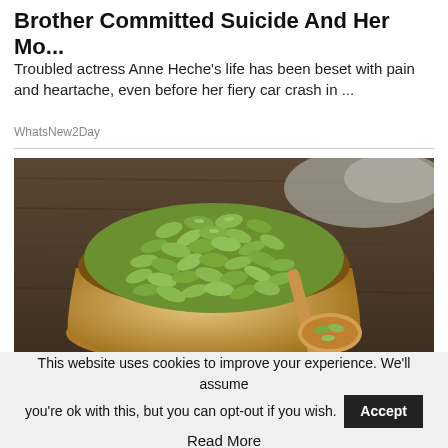Brother Committed Suicide And Her Mo...
Troubled actress Anne Heche's life has been beset with pain and heartache, even before her fiery car crash in ...
WhatsNew2Day
[Figure (photo): A wooden bowl filled with green pumpkin seeds on a rustic wooden surface, with a wooden spoon containing a few seeds beside the bowl.]
This website uses cookies to improve your experience. We'll assume you're ok with this, but you can opt-out if you wish. Accept Read More